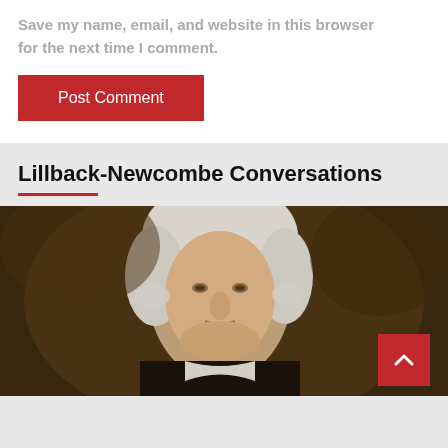Save my name, email, and website in this browser for the next time I comment.
Post Comment
Lillback-Newcombe Conversations
[Figure (photo): Portrait painting of George Washington with white powdered wig against a dark brown background, classical style oil painting.]